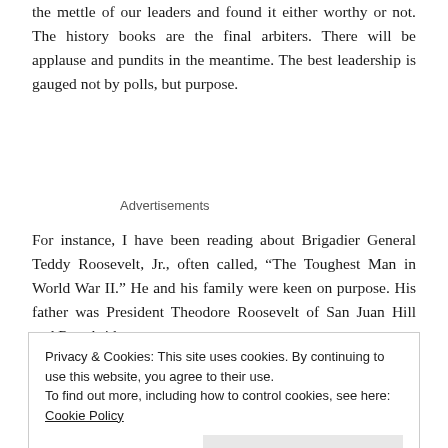the mettle of our leaders and found it either worthy or not. The history books are the final arbiters. There will be applause and pundits in the meantime. The best leadership is gauged not by polls, but purpose.
Advertisements
For instance, I have been reading about Brigadier General Teddy Roosevelt, Jr., often called, “The Toughest Man in World War II.” He and his family were keen on purpose. His father was President Theodore Roosevelt of San Juan Hill and Roughrider
Privacy & Cookies: This site uses cookies. By continuing to use this website, you agree to their use.
To find out more, including how to control cookies, see here: Cookie Policy
Close and accept
and U.S. Army Archives, notions from the military after having to determine